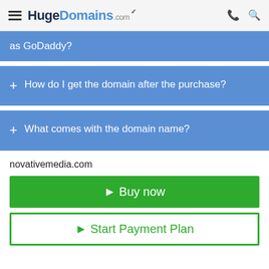HugeDomains.com
as GoDaddy?
How do I get the domain after the purchase?
What comes with the domain name?
novativemedia.com
► Buy now
► Start Payment Plan